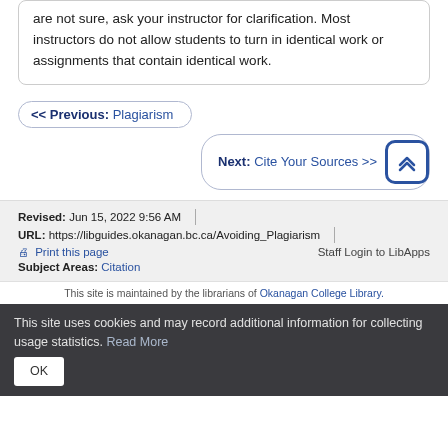are not sure, ask your instructor for clarification. Most instructors do not allow students to turn in identical work or assignments that contain identical work.
<< Previous: Plagiarism
Next: Cite Your Sources >>
Revised: Jun 15, 2022 9:56 AM | URL: https://libguides.okanagan.bc.ca/Avoiding_Plagiarism
Print this page    Staff Login to LibApps
Subject Areas: Citation
This site is maintained by the librarians of Okanagan College Library.
This site uses cookies and may record additional information for collecting usage statistics. Read More  OK